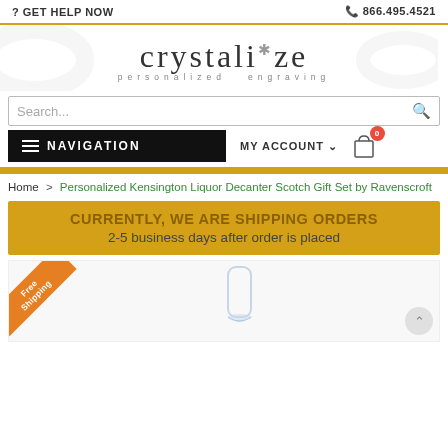? GET HELP NOW   866.495.4521
[Figure (logo): Crystalize personalized engraving logo with decorative script and snowflake accent]
Search...
≡ NAVIGATION   MY ACCOUNT ∨   Cart (0)
Home > Personalized Kensington Liquor Decanter Scotch Gift Set by Ravenscroft
CURRENTLY, WE ARE SHIPPING ORDERS
2-5 business days after order is placed
[Figure (photo): Product image area with Free Shipping ribbon badge and crystal glass/decanter photo]